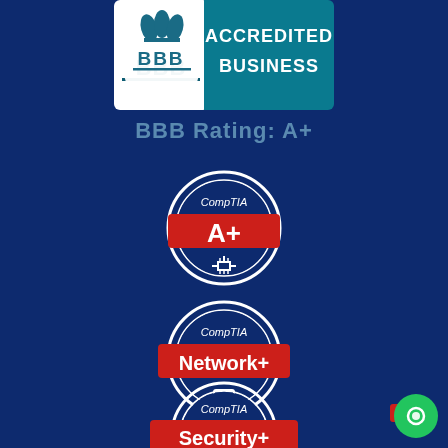[Figure (logo): BBB Accredited Business logo — white shield with BBB text on left, teal rectangle with ACCREDITED BUSINESS text on right]
BBB Rating: A+
[Figure (logo): CompTIA A+ certification badge — circular white badge with red banner reading A+]
[Figure (logo): CompTIA Network+ certification badge — circular white badge with red banner reading Network+]
[Figure (logo): CompTIA Security+ certification badge — circular white badge with red banner reading Security+]